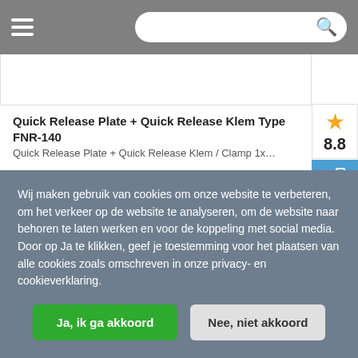Navigation bar with hamburger menu and search bar
Quick Release Plate + Quick Release Klem Type FNR-140
Quick Release Plate + Quick Release Klem / Clamp 1x…
€ 31,95
+ IN WINKELWAGEN
8.8
Wij maken gebruik van cookies om onze website te verbeteren, om het verkeer op de website te analyseren, om de website naar behoren te laten werken en voor de koppeling met social media. Door op Ja te klikken, geef je toestemming voor het plaatsen van alle cookies zoals omschreven in onze privacy- en cookieverklaring.
Ja, ik ga akkoord
Nee, niet akkoord